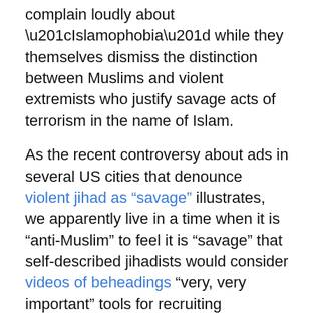complain loudly about “Islamophobia” while they themselves dismiss the distinction between Muslims and violent extremists who justify savage acts of terrorism in the name of Islam.
As the recent controversy about ads in several US cities that denounce violent jihad as “savage” illustrates, we apparently live in a time when it is “anti-Muslim” to feel it is “savage” that self-described jihadists would consider videos of beheadings “very, very important” tools for recruiting volunteers to their ranks. And apparently, it’s also beyond the pale to recoil at the savagery of Muslim fanatics who proudly announce that they will keep trying to kill a fourteen-year old girl that they already injured grievously to silence her demands for education, respect and dignity.